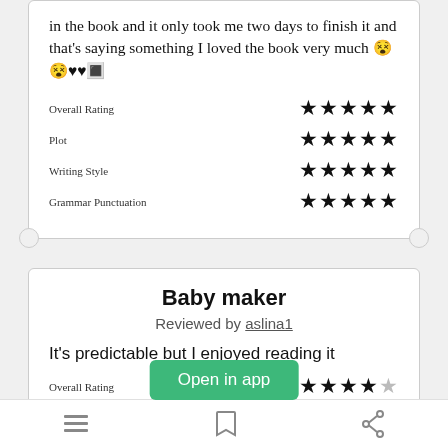in the book and it only took me two days to finish it and that's saying something I loved the book very much 😵😵♥♥🔲🔲
| Category | Rating |
| --- | --- |
| Overall Rating | ★★★★★ |
| Plot | ★★★★★ |
| Writing Style | ★★★★★ |
| Grammar Punctuation | ★★★★★ |
Baby maker
Reviewed by aslina1
It's predictable but I enjoyed reading it
| Category | Rating |
| --- | --- |
| Overall Rating | ★★★★☆ |
[Figure (other): Open in app green button overlay]
Navigation bar with list icon, bookmark icon, and share icon